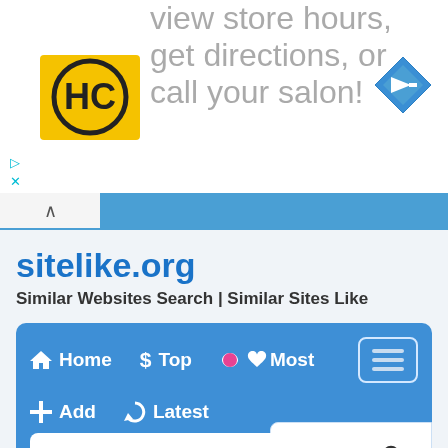[Figure (screenshot): Ad banner at top showing partial text 'view store hours, get directions, or call your salon!' with HC logo and blue diamond navigation icon]
sitelike.org
Similar Websites Search | Similar Sites Like
[Figure (screenshot): Navigation bar with Home, Top, Most, Add, Latest items and example.com search box with Scroll Top button overlay]